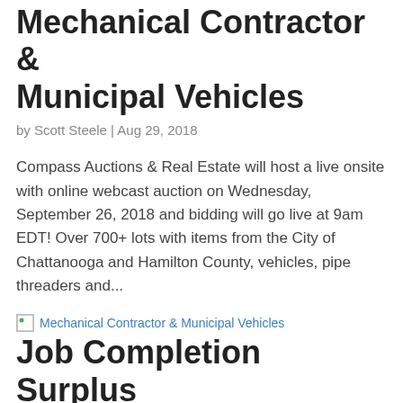Mechanical Contractor & Municipal Vehicles
by Scott Steele | Aug 29, 2018
Compass Auctions & Real Estate will host a live onsite with online webcast auction on Wednesday, September 26, 2018 and bidding will go live at 9am EDT! Over 700+ lots with items from the City of Chattanooga and Hamilton County, vehicles, pipe threaders and...
[Figure (photo): Thumbnail image for Mechanical Contractor & Municipal Vehicles article]
Job Completion Surplus
by Scott Steele | Aug 29, 2018
Join Compass Auctions for this online only public auction sale on October 17, 2018 –